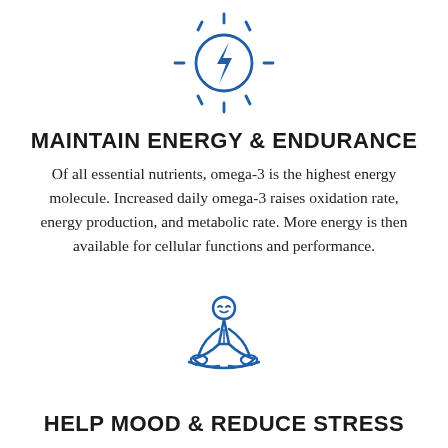[Figure (illustration): Blue outline icon of a sun with a lightning bolt in the center, representing energy and endurance]
MAINTAIN ENERGY & ENDURANCE
Of all essential nutrients, omega-3 is the highest energy molecule. Increased daily omega-3 raises oxidation rate, energy production, and metabolic rate. More energy is then available for cellular functions and performance.
[Figure (illustration): Blue outline icon of a person sitting in a meditation/lotus pose, representing mood and stress reduction]
HELP MOOD & REDUCE STRESS